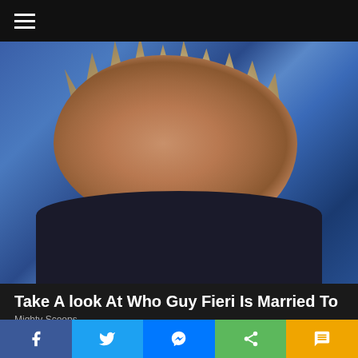[Figure (photo): Close-up photo of Guy Fieri, a man with spiky highlighted hair, goatee, wearing a dark shirt and gold chain necklace, looking to the left against a blue background]
Take A look At Who Guy Fieri Is Married To
Mighty Scoops
[Figure (infographic): Social media share bar with five buttons: Facebook (dark blue), Twitter (light blue), Messenger (blue), Share/generic (green), SMS/LINEs (amber/orange)]